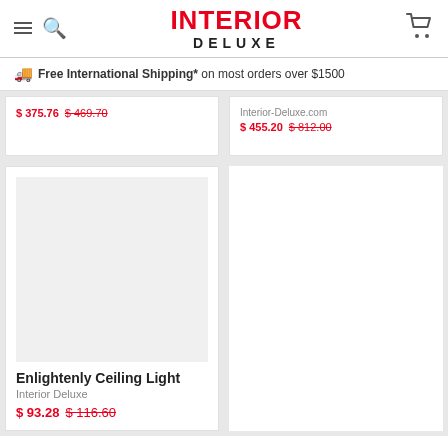INTERIOR DELUXE
Free International Shipping* on most orders over $1500
$ 375.76 $ 469.70
Interior-Deluxe.com
$ 455.20 $ 812.00
[Figure (photo): Product image placeholder (light grey box) for Enlightenly Ceiling Light]
Enlightenly Ceiling Light
Interior Deluxe
$ 93.28 $ 116.60